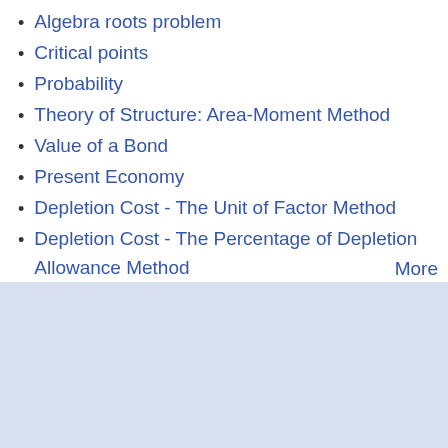Algebra roots problem
Critical points
Probability
Theory of Structure: Area-Moment Method
Value of a Bond
Present Economy
Depletion Cost - The Unit of Factor Method
Depletion Cost - The Percentage of Depletion Allowance Method
More
[Figure (other): Light blue-gray shaded rectangular area at the bottom of the page]